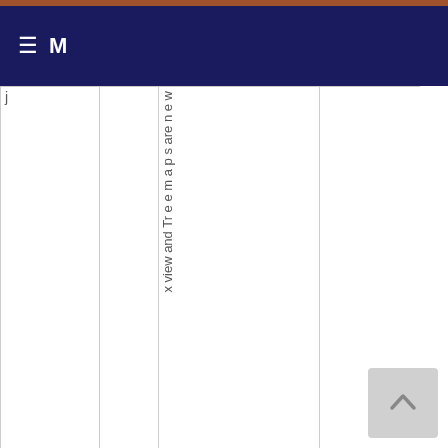≡ M
| j |  | x vi e w a n d Tr e e m a p s ar e n e w |  |